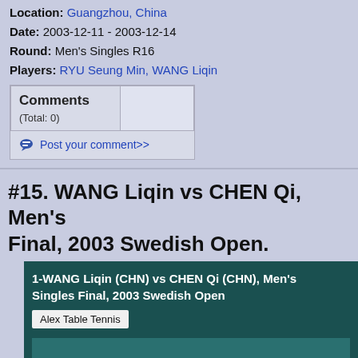Location: Guangzhou, China
Date: 2003-12-11 - 2003-12-14
Round: Men's Singles R16
Players: RYU Seung Min, WANG Liqin
| Comments |  |
| --- | --- |
| (Total: 0) |  |
| Post your comment>> |  |
#15. WANG Liqin vs CHEN Qi, Men's Final, 2003 Swedish Open.
1-WANG Liqin (CHN) vs CHEN Qi (CHN), Men's Singles Final, 2003 Swedish Open
Alex Table Tennis